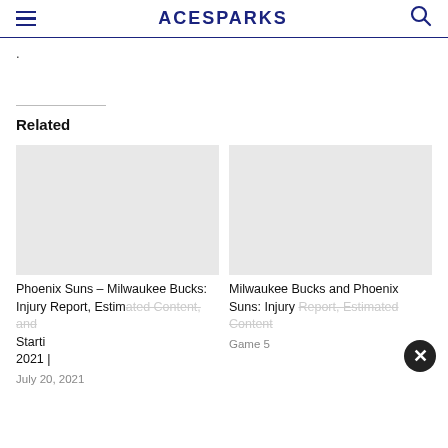ACESPARKS
.
Related
Phoenix Suns – Milwaukee Bucks: Injury Report, Estimated Content, and Starti
2021 |
July 20, 2021
Milwaukee Bucks and Phoenix Suns: Injury Report, Estimated Content
Game 5